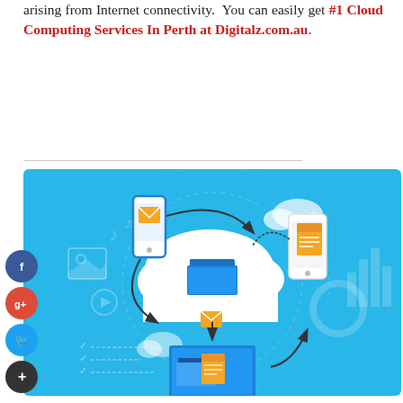arising from Internet connectivity. You can easily get #1 Cloud Computing Services In Perth at Digitalz.com.au.
[Figure (illustration): Cloud computing infographic illustration showing a central white cloud with a blue folder icon, connected by arrows to a smartphone with an email icon, a tablet/phone with a document icon, and a laptop with a folder and document icon. Background is light blue with subtle gear, music note, chart, and play button icons. Social media icons (Facebook, Google+, Twitter, plus) appear on the left side.]